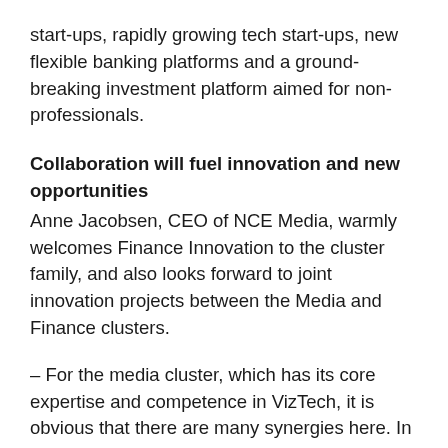start-ups, rapidly growing tech start-ups, new flexible banking platforms and a ground-breaking investment platform aimed for non-professionals.
Collaboration will fuel innovation and new opportunities
Anne Jacobsen, CEO of NCE Media, warmly welcomes Finance Innovation to the cluster family, and also looks forward to joint innovation projects between the Media and Finance clusters.
– For the media cluster, which has its core expertise and competence in VizTech, it is obvious that there are many synergies here. In addition to having strong environments working with visualization technologies, we also have companies that work with transactions, blockchain, security, payment solutions, user perspectives and communications. Much of the technology and solutions